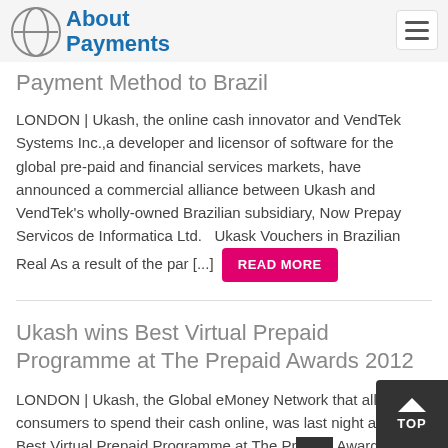About Payments
Payment Method to Brazil
LONDON | Ukash, the online cash innovator and VendTek Systems Inc.,a developer and licensor of software for the global pre-paid and financial services markets, have announced a commercial alliance between Ukash and VendTek's wholly-owned Brazilian subsidiary, Now Prepay Servicos de Informatica Ltd.   Ukask Vouchers in Brazilian Real As a result of the par [...] READ MORE
Ukash wins Best Virtual Prepaid Programme at The Prepaid Awards 2012
LONDON | Ukash, the Global eMoney Network that allows consumers to spend their cash online, was last night awarded Best Virtual Prepaid Programme at The Prepaid Awards 2012.   Now in its fifth year, the annual Prepaid Awards recognise significant achievements in the fast-